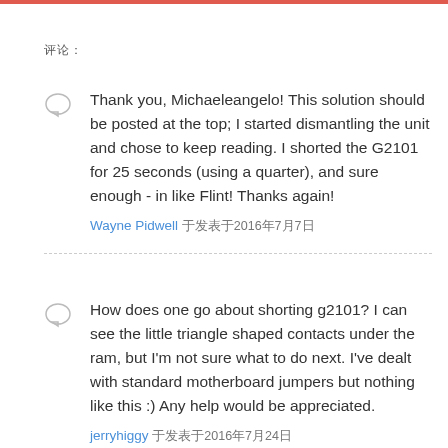评论:
Thank you, Michaeleangelo! This solution should be posted at the top; I started dismantling the unit and chose to keep reading. I shorted the G2101 for 25 seconds (using a quarter), and sure enough - in like Flint! Thanks again!
Wayne Pidwell 于发表于2016年7月7日
How does one go about shorting g2101? I can see the little triangle shaped contacts under the ram, but I'm not sure what to do next. I've dealt with standard motherboard jumpers but nothing like this :) Any help would be appreciated.
jerryhiggy 于发表于2016年7月24日